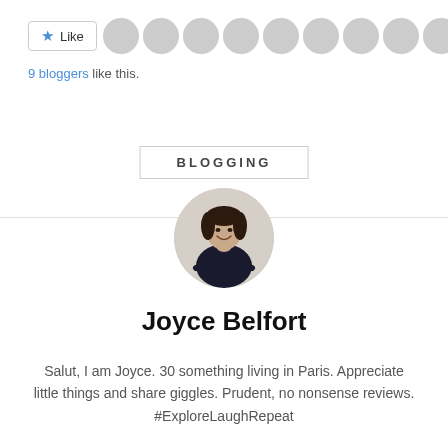[Figure (screenshot): Like button with star icon, followed by 9 circular blogger avatar thumbnails]
9 bloggers like this.
BLOGGING
[Figure (photo): Circular profile photo of Joyce Belfort, a smiling woman with dark hair wearing a black turtleneck, arms crossed]
Joyce Belfort
Salut, I am Joyce. 30 something living in Paris. Appreciate little things and share giggles. Prudent, no nonsense reviews. #ExploreLaughRepeat